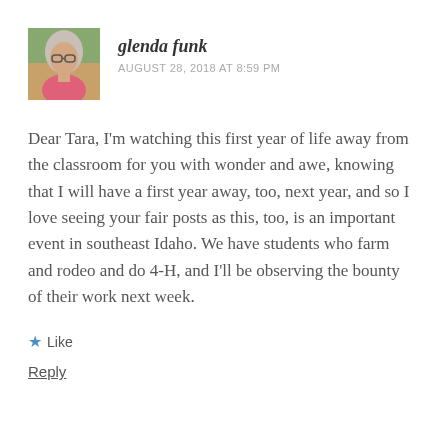[Figure (photo): Avatar photo of a woman with glasses and gray hair, wearing a pink top, outdoors with colorful background]
glenda funk
AUGUST 28, 2018 AT 8:59 PM
Dear Tara, I'm watching this first year of life away from the classroom for you with wonder and awe, knowing that I will have a first year away, too, next year, and so I love seeing your fair posts as this, too, is an important event in southeast Idaho. We have students who farm and rodeo and do 4-H, and I'll be observing the bounty of their work next week.
★ Like
Reply